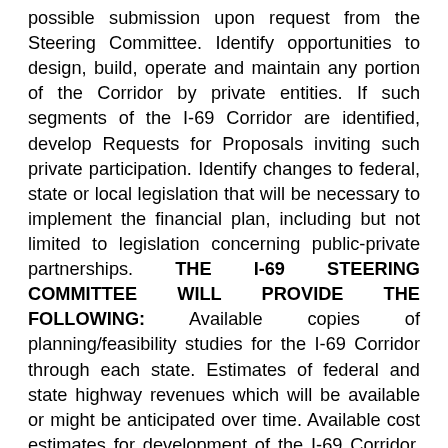possible submission upon request from the Steering Committee. Identify opportunities to design, build, operate and maintain any portion of the Corridor by private entities. If such segments of the I-69 Corridor are identified, develop Requests for Proposals inviting such private participation. Identify changes to federal, state or local legislation that will be necessary to implement the financial plan, including but not limited to legislation concerning public-private partnerships. THE I-69 STEERING COMMITTEE WILL PROVIDE THE FOLLOWING: Available copies of planning/feasibility studies for the I-69 Corridor through each state. Estimates of federal and state highway revenues which will be available or might be anticipated over time. Available cost estimates for development of the I-69 Corridor. Available traffic count histories and projections for both passenger cars and trucks. Information regarding existing funding programs, commitments and needs. DOCUMENTATION AND SCHEDULING Technical documents detailing the proposed funding sources and financial scenarios will be prepared for Steering Committee review. These documents should include, as appropriate, the proposed revenue stream (by source), bond maturity date(s), toll revenue and rates,